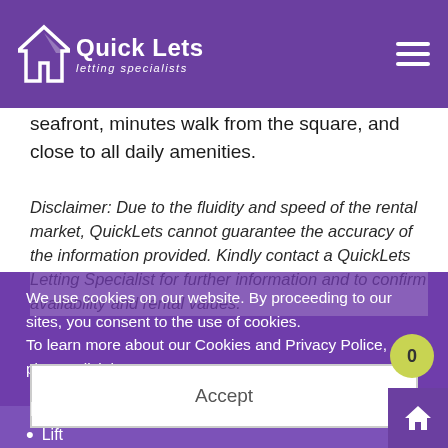QuickLets — letting specialists
seafront, minutes walk from the square, and close to all daily amenities.
Disclaimer: Due to the fluidity and speed of the rental market, QuickLets cannot guarantee the accuracy of the information provided. Kindly contact a QuickLets Letting Specialist for further information and to confirm availability and rental values.
We use cookies on our website. By proceeding to our sites, you consent to the use of cookies. To learn more about our Cookies and Privacy Police, please click here
Accept
Features :
Lift
Furnished
Air Conditioning
Washing Machine
LCD TV